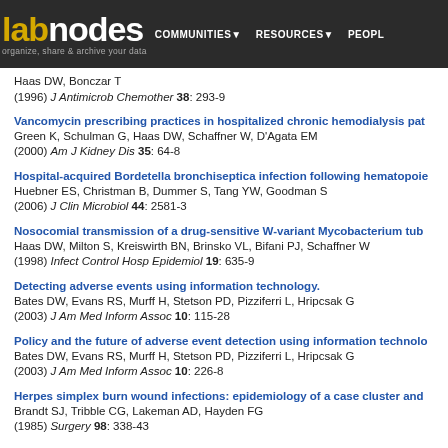labnodes - organize, share & archive your data | COMMUNITIES | RESOURCES | PEOPLE
Haas DW, Bonczar T
(1996) J Antimicrob Chemother 38: 293-9
Vancomycin prescribing practices in hospitalized chronic hemodialysis pat...
Green K, Schulman G, Haas DW, Schaffner W, D'Agata EM
(2000) Am J Kidney Dis 35: 64-8
Hospital-acquired Bordetella bronchiseptica infection following hematopoie...
Huebner ES, Christman B, Dummer S, Tang YW, Goodman S
(2006) J Clin Microbiol 44: 2581-3
Nosocomial transmission of a drug-sensitive W-variant Mycobacterium tub...
Haas DW, Milton S, Kreiswirth BN, Brinsko VL, Bifani PJ, Schaffner W
(1998) Infect Control Hosp Epidemiol 19: 635-9
Detecting adverse events using information technology.
Bates DW, Evans RS, Murff H, Stetson PD, Pizziferri L, Hripcsak G
(2003) J Am Med Inform Assoc 10: 115-28
Policy and the future of adverse event detection using information technolo...
Bates DW, Evans RS, Murff H, Stetson PD, Pizziferri L, Hripcsak G
(2003) J Am Med Inform Assoc 10: 226-8
Herpes simplex burn wound infections: epidemiology of a case cluster and...
Brandt SJ, Tribble CG, Lakeman AD, Hayden FG
(1985) Surgery 98: 338-43